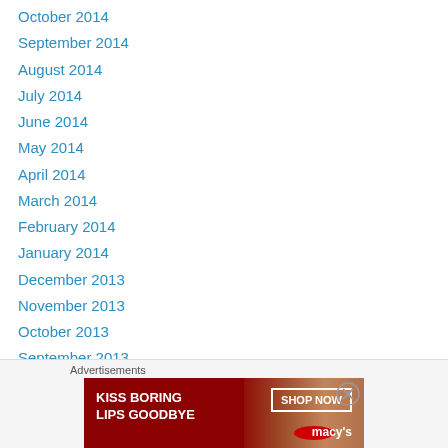October 2014
September 2014
August 2014
July 2014
June 2014
May 2014
April 2014
March 2014
February 2014
January 2014
December 2013
November 2013
October 2013
September 2013
August 2013
July 2013
June 2013
Advertisements
[Figure (photo): Macy's advertisement banner: KISS BORING LIPS GOODBYE with SHOP NOW button and Macy's logo, showing woman's face with red lipstick]